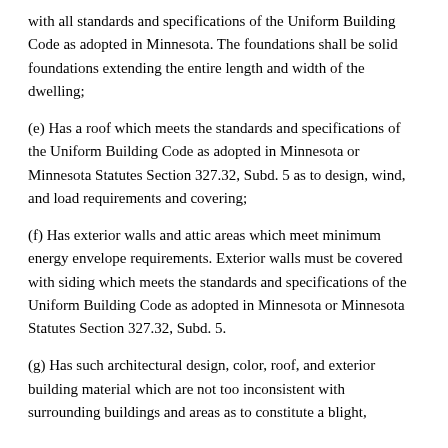with all standards and specifications of the Uniform Building Code as adopted in Minnesota. The foundations shall be solid foundations extending the entire length and width of the dwelling;
(e) Has a roof which meets the standards and specifications of the Uniform Building Code as adopted in Minnesota or Minnesota Statutes Section 327.32, Subd. 5 as to design, wind, and load requirements and covering;
(f) Has exterior walls and attic areas which meet minimum energy envelope requirements. Exterior walls must be covered with siding which meets the standards and specifications of the Uniform Building Code as adopted in Minnesota or Minnesota Statutes Section 327.32, Subd. 5.
(g) Has such architectural design, color, roof, and exterior building material which are not too inconsistent with surrounding buildings and areas as to constitute a blight,